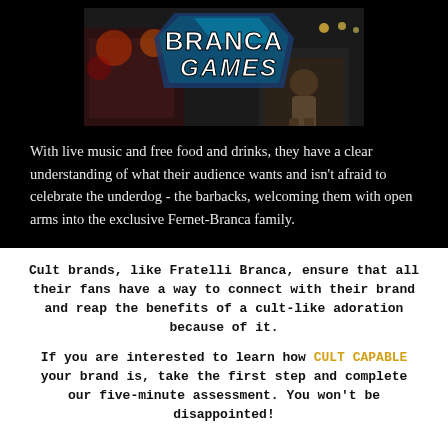[Figure (photo): Branca Games event photo with logo overlay showing athletes and tires, dark atmospheric background]
With live music and free food and drinks, they have a clear understanding of what their audience wants and isn't afraid to celebrate the underdog - the barbacks, welcoming them with open arms into the exclusive Fernet-Branca family.
Cult brands, like Fratelli Branca, ensure that all their fans have a way to connect with their brand and reap the benefits of a cult-like adoration because of it.
If you are interested to learn how CULT CAPABLE your brand is, take the first step and complete our five-minute assessment. You won't be disappointed!